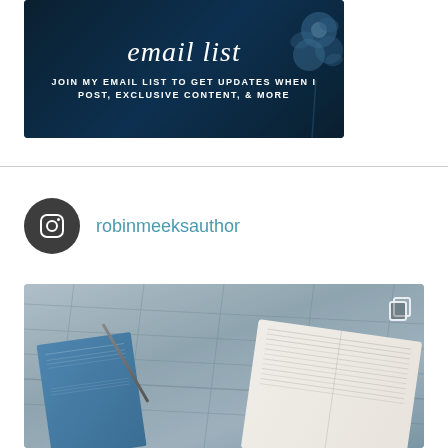[Figure (illustration): Email list promotional banner with dark blue background and light blue flowers. Text reads 'email list' in script font, with subtext 'JOIN MY EMAIL LIST TO GET UPDATES WHEN I POST, EXCLUSIVE CONTENT, & MORE']
robinmeeksauthor
[Figure (photo): Instagram post showing books on a rumpled gray fabric surface. A blue book and an open white book are visible, with small text inside them. A copy/layers icon is visible in the top right corner of the image.]